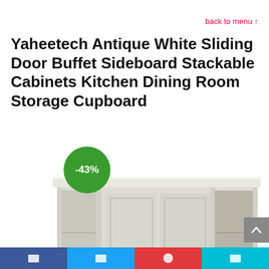back to menu ↑
Yaheetech Antique White Sliding Door Buffet Sideboard Stackable Cabinets Kitchen Dining Room Storage Cupboard
[Figure (photo): Photo of a white antique-style sideboard/buffet cabinet with sliding doors, two open compartments on the sides, and a green discount badge showing -43% in the upper left corner of the image.]